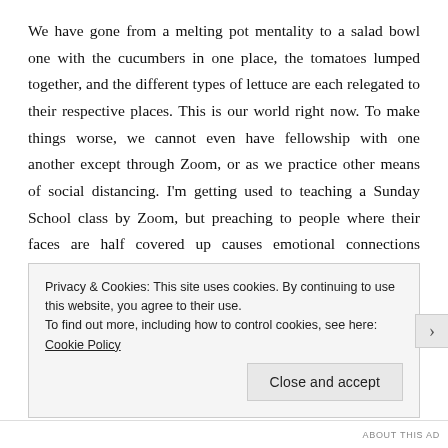We have gone from a melting pot mentality to a salad bowl one with the cucumbers in one place, the tomatoes lumped together, and the different types of lettuce are each relegated to their respective places. This is our world right now. To make things worse, we cannot even have fellowship with one another except through Zoom, or as we practice other means of social distancing. I'm getting used to teaching a Sunday School class by Zoom, but preaching to people where their faces are half covered up causes emotional connections difficult to make. I know, people are ministering to one another through social
Privacy & Cookies: This site uses cookies. By continuing to use this website, you agree to their use.
To find out more, including how to control cookies, see here: Cookie Policy
Close and accept
ABOUT THIS AD